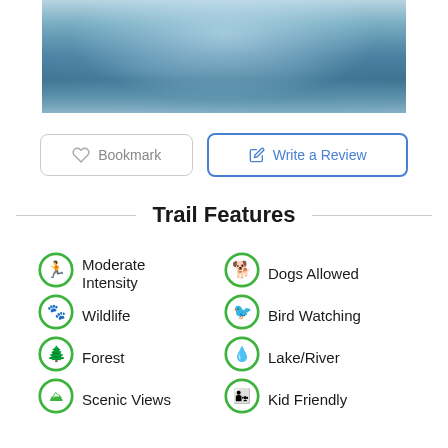[Figure (photo): Aerial or close-up view of calm lake/river water with light reflections on the surface, blue-gray tones]
Bookmark
Write a Review
Trail Features
Moderate Intensity
Dogs Allowed
Wildlife
Bird Watching
Forest
Lake/River
Scenic Views
Kid Friendly